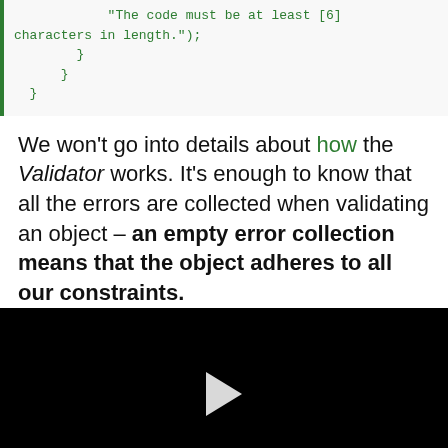"The code must be at least [6] characters in length.");
        }
      }
    }
We won't go into details about how the Validator works. It's enough to know that all the errors are collected when validating an object – an empty error collection means that the object adheres to all our constraints.
[Figure (other): Black video player area with a white play button triangle in the center]